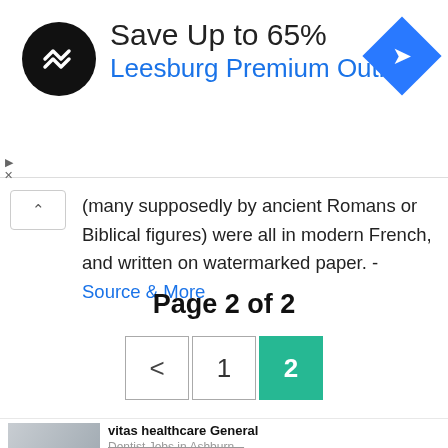[Figure (infographic): Advertisement banner: black circular logo with double-arrow icon, text 'Save Up to 65% Leesburg Premium Outlets', blue diamond navigation icon on right]
(many supposedly by ancient Romans or Biblical figures) were all in modern French, and written on watermarked paper. - Source & More
Page 2 of 2
[Figure (infographic): Pagination controls: left arrow button, page 1 button, page 2 button (active, green background)]
[Figure (infographic): Sponsored ad: vitas healthcare General Dentist Jobs in Ashburn, with photo and adpushup label]
[Figure (infographic): Sponsored ad: kampgrounds enterprises inc. Office Staff Jobs in Ashbur..., jobble.com]